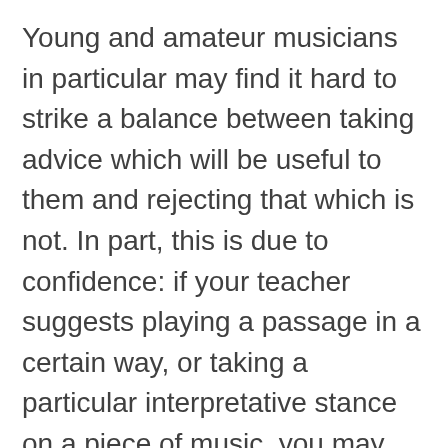Young and amateur musicians in particular may find it hard to strike a balance between taking advice which will be useful to them and rejecting that which is not. In part, this is due to confidence: if your teacher suggests playing a passage in a certain way, or taking a particular interpretative stance on a piece of music, you may feel obliged to bow to what you perceive to be their greater wisdom, and blindly accept what they are telling you. I encounter this attitude quite frequently amongst amateur pianists in particular. Some years ago at a piano course which attracts